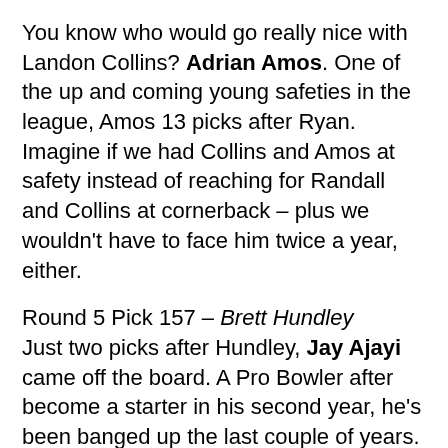You know who would go really nice with Landon Collins? Adrian Amos. One of the up and coming young safeties in the league, Amos 13 picks after Ryan. Imagine if we had Collins and Amos at safety instead of reaching for Randall and Collins at cornerback – plus we wouldn't have to face him twice a year, either.
Round 5 Pick 157 – Brett Hundley
Just two picks after Hundley, Jay Ajayi came off the board. A Pro Bowler after become a starter in his second year, he's been banged up the last couple of years. Still, he's an explosive pistol who could be paired with Aaron Jones to keep them both healthy in a timeshare. This would have been more valuable than the preseason false advertising